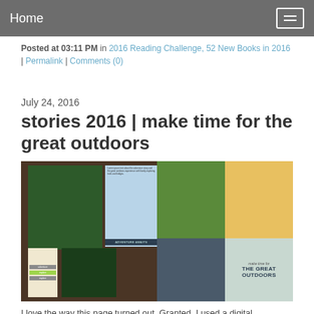Home
Posted at 03:11 PM in 2016 Reading Challenge, 52 New Books in 2016 | Permalink | Comments (0)
July 24, 2016
stories 2016 | make time for the great outdoors
[Figure (photo): Digital scrapbook page with photos of a girl at a bridge, waterfall, and water play area, with the text ADVENTURE AWAITS and make time for THE GREAT OUTDOORS]
I love the way this page turned out. Granted, I used a digital